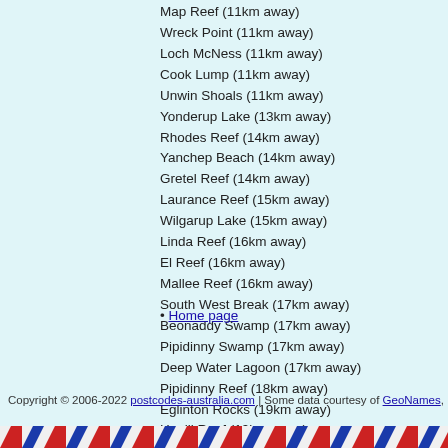Map Reef (11km away)
Wreck Point (11km away)
Loch McNess (11km away)
Cook Lump (11km away)
Unwin Shoals (11km away)
Yonderup Lake (13km away)
Rhodes Reef (14km away)
Yanchep Beach (14km away)
Gretel Reef (14km away)
Laurance Reef (15km away)
Wilgarup Lake (15km away)
Linda Reef (16km away)
El Reef (16km away)
Mallee Reef (16km away)
South West Break (17km away)
Beonaddy Swamp (17km away)
Pipidinny Swamp (17km away)
Deep Water Lagoon (17km away)
Pipidinny Reef (18km away)
Eglinton Rocks (19km away)
Hugill Reef (19km away)
Alkimos Reef (20km away)
• Home page
Copyright © 2006-2022 postcodes-australia.com | Some data courtesy of GeoNames, used unde